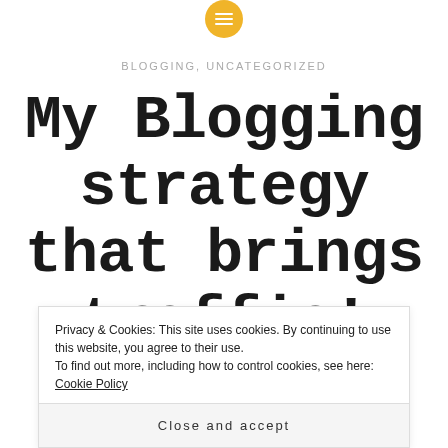[Figure (logo): Yellow circle logo with white horizontal lines (menu/list icon)]
BLOGGING, UNCATEGORIZED
My Blogging strategy that brings traffic!
Posted by NANNYMARYANNE on MARCH 6, 2019
Privacy & Cookies: This site uses cookies. By continuing to use this website, you agree to their use.
To find out more, including how to control cookies, see here: Cookie Policy
Close and accept